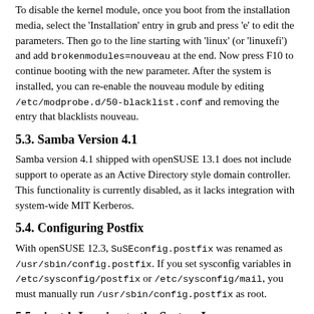To disable the kernel module, once you boot from the installation media, select the 'Installation' entry in grub and press 'e' to edit the parameters. Then go to the line starting with 'linux' (or 'linuxefi') and add brokenmodules=nouveau at the end. Now press F10 to continue booting with the new parameter. After the system is installed, you can re-enable the nouveau module by editing /etc/modprobe.d/50-blacklist.conf and removing the entry that blacklists nouveau.
5.3. Samba Version 4.1
Samba version 4.1 shipped with openSUSE 13.1 does not include support to operate as an Active Directory style domain controller. This functionality is currently disabled, as it lacks integration with system-wide MIT Kerberos.
5.4. Configuring Postfix
With openSUSE 12.3, SuSEconfig.postfix was renamed as /usr/sbin/config.postfix. If you set sysconfig variables in /etc/sysconfig/postfix or /etc/sysconfig/mail, you must manually run /usr/sbin/config.postfix as root.
5.5. xinetd: Logging to the System Log